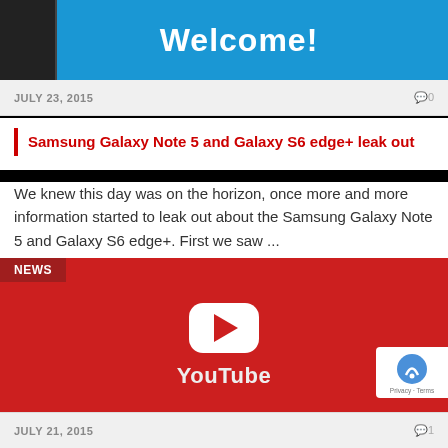[Figure (screenshot): Welcome banner with blue background and phone on left side]
JULY 23, 2015   0
Samsung Galaxy Note 5 and Galaxy S6 edge+ leak out
We knew this day was on the horizon, once more and more information started to leak out about the Samsung Galaxy Note 5 and Galaxy S6 edge+. First we saw ...
[Figure (screenshot): YouTube logo on red background with NEWS badge overlay]
JULY 21, 2015